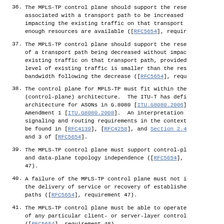36. The MPLS-TP control plane should support the reservation of resources associated with a transport path to be increased without impacting the existing traffic on that transport path, provided enough resources are available ([RFC5654], requir...
37. The MPLS-TP control plane should support the reservation of a transport path being decreased without impacting existing traffic on that transport path, provided the level of existing traffic is smaller than the reserved bandwidth following the decrease ([RFC5654], requ...
38. The control plane for MPLS-TP must fit within the ASON (control-plane) architecture. The ITU-T has defined the architecture for ASONs in G.8080 [ITU.G8080.2006] and Amendment 1 [ITU.G8080.2008]. An interpretation of the signaling and routing requirements in the context of can be found in [RFC4139], [RFC4258], and Section 2.4 and 3 of [RFC5654].
39. The MPLS-TP control plane must support control-plane and data-plane topology independence ([RFC5654], requirement 47).
40. A failure of the MPLS-TP control plane must not impact the delivery of service or recovery of established paths ([RFC5654], requirement 47).
41. The MPLS-TP control plane must be able to operate independently of any particular client- or server-layer control protocol ([RFC5654], requirement 48).